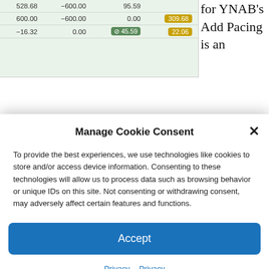[Figure (screenshot): Partial screenshot of a YNAB budget table showing rows with columns for budget amounts, activity, and available balance. Values include 528.68, -600.00, 95.59; 600.00, -600.00, 0.00 with orange badge 309.68; -16.32, 0.00, green badge 45.59, and badge 22.06.]
for YNAB's Add Pacing is an interesting setting. It adds a new column to the right of the Available column. In addition to the default (off) option, you can choose to display the
Manage Cookie Consent
To provide the best experiences, we use technologies like cookies to store and/or access device information. Consenting to these technologies will allow us to process data such as browsing behavior or unique IDs on this site. Not consenting or withdrawing consent, may adversely affect certain features and functions.
Accept
Privacy   Privacy